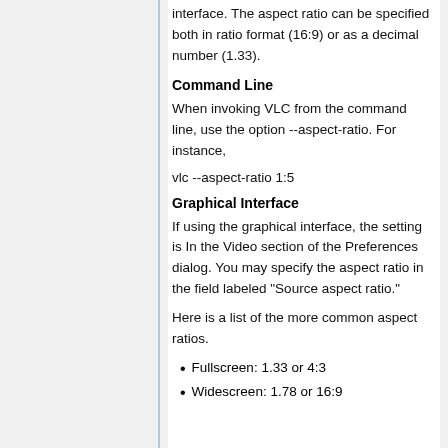interface. The aspect ratio can be specified both in ratio format (16:9) or as a decimal number (1.33).
Command Line
When invoking VLC from the command line, use the option --aspect-ratio. For instance,
vlc --aspect-ratio 1:5
Graphical Interface
If using the graphical interface, the setting is In the Video section of the Preferences dialog. You may specify the aspect ratio in the field labeled "Source aspect ratio."
Here is a list of the more common aspect ratios.
Fullscreen: 1.33 or 4:3
Widescreen: 1.78 or 16:9